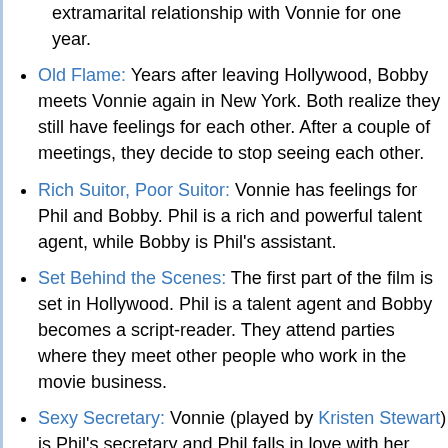extramarital relationship with Vonnie for one year.
Old Flame: Years after leaving Hollywood, Bobby meets Vonnie again in New York. Both realize they still have feelings for each other. After a couple of meetings, they decide to stop seeing each other.
Rich Suitor, Poor Suitor: Vonnie has feelings for Phil and Bobby. Phil is a rich and powerful talent agent, while Bobby is Phil's assistant.
Set Behind the Scenes: The first part of the film is set in Hollywood. Phil is a talent agent and Bobby becomes a script-reader. They attend parties where they meet other people who work in the movie business.
Sexy Secretary: Vonnie (played by Kristen Stewart) is Phil's secretary and Phil falls in love with her immediately when he meets her. Bobby falls for her just after meeting her too.
Shout-Out:
Bobby and Vonnie go to the movies to see The